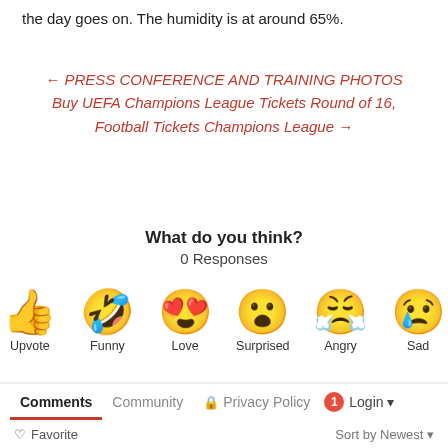the day goes on. The humidity is at around 65%.
← PRESS CONFERENCE AND TRAINING PHOTOS
Buy UEFA Champions League Tickets Round of 16, Football Tickets Champions League →
What do you think?
0 Responses
[Figure (infographic): Six emoji reaction icons: Upvote (thumbs up), Funny (laughing face with tongue), Love (heart-eyes face), Surprised (wide-eyed face), Angry (crying/angry face), Sad (sad face with tear)]
Comments  Community  🔒 Privacy Policy  1 Login ▾
♡ Favorite    Sort by Newest ▾